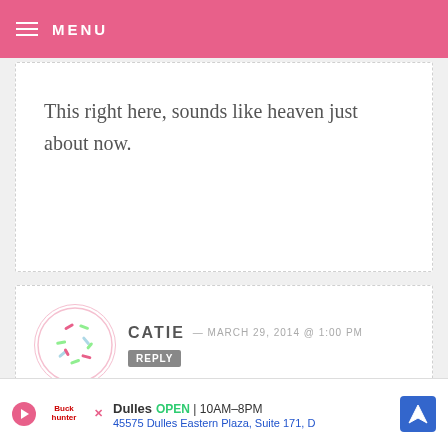MENU
This right here, sounds like heaven just about now.
CATIE — MARCH 29, 2014 @ 1:00 PM  REPLY
That does look good but I don't like cool whip.
CATIE — MARCH 29, 2014 @ 12:57 PM  REPLY
That looks
Dulles  OPEN  10AM–8PM
45575 Dulles Eastern Plaza, Suite 171, D